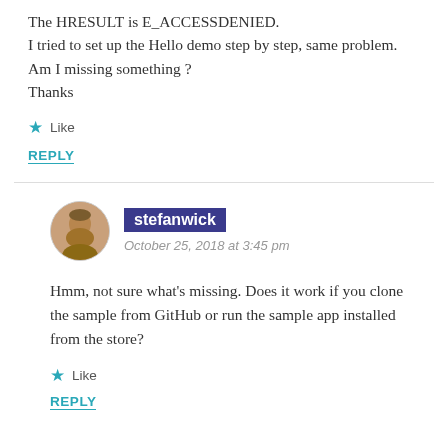The HRESULT is E_ACCESSDENIED. I tried to set up the Hello demo step by step, same problem. Am I missing something ? Thanks
★ Like
REPLY
stefanwick
October 25, 2018 at 3:45 pm
Hmm, not sure what's missing. Does it work if you clone the sample from GitHub or run the sample app installed from the store?
★ Like
REPLY